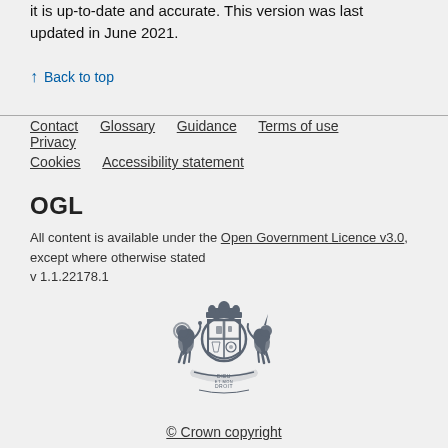it is up-to-date and accurate. This version was last updated in June 2021.
↑ Back to top
Contact | Glossary | Guidance | Terms of use | Privacy | Cookies | Accessibility statement
OGL
All content is available under the Open Government Licence v3.0, except where otherwise stated
v 1.1.22178.1
[Figure (logo): UK Government Royal Coat of Arms with lion and unicorn supporters, crown, shield, and motto DIEU ET MON DROIT]
© Crown copyright